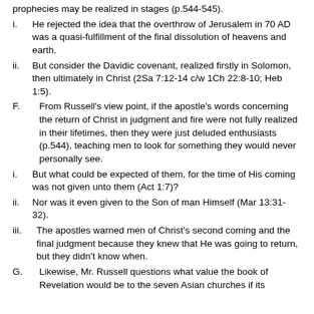In The Parousia, Russell holds the idea that prophecies may be realized in stages (p.544-545).
i.      He rejected the idea that the overthrow of Jerusalem in 70 AD was a quasi-fulfillment of the final dissolution of heavens and earth.
ii.      But consider the Davidic covenant, realized firstly in Solomon, then ultimately in Christ (2Sa 7:12-14 c/w 1Ch 22:8-10; Heb 1:5).
F.      From Russell's view point, if the apostle's words concerning the return of Christ in judgment and fire were not fully realized in their lifetimes, then they were just deluded enthusiasts (p.544), teaching men to look for something they would never personally see.
i.      But what could be expected of them, for the time of His coming was not given unto them (Act 1:7)?
ii.      Nor was it even given to the Son of man Himself (Mar 13:31-32).
iii.      The apostles warned men of Christ's second coming and the final judgment because they knew that He was going to return, but they didn't know when.
G.      Likewise, Mr. Russell questions what value the book of Revelation would be to the seven Asian churches if its...